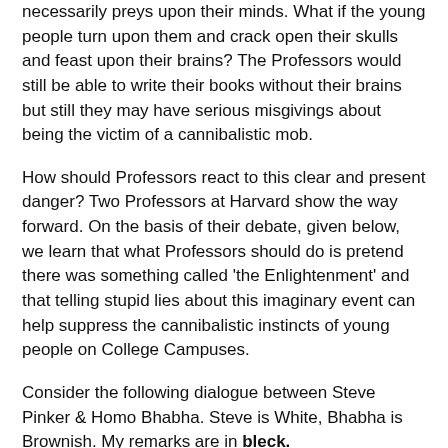necessarily preys upon their minds. What if the young people turn upon them and crack open their skulls and feast upon their brains? The Professors would still be able to write their books without their brains but still they may have serious misgivings about being the victim of a cannibalistic mob.
How should Professors react to this clear and present danger? Two Professors at Harvard show the way forward. On the basis of their debate, given below, we learn that what Professors should do is pretend there was something called 'the Enlightenment' and that telling stupid lies about this imaginary event can help suppress the cannibalistic instincts of young people on College Campuses.
Consider the following dialogue between Steve Pinker & Homo Bhabha. Steve is White, Bhabha is Brownish. My remarks are in bleck.
Steven Pinker: "The Enlightenment principle that we can apply reason and sympathy to enhance human flourishing may seem obvious, trite, old-fashioned.